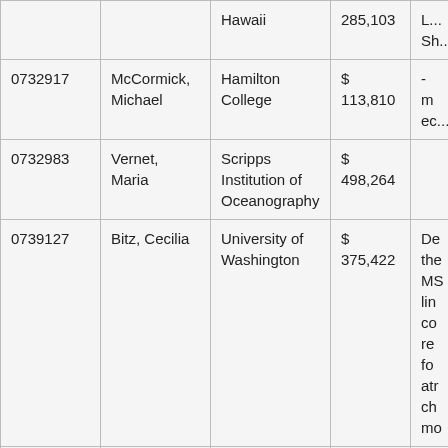| ID | Name | Institution | Amount | Description (truncated) |
| --- | --- | --- | --- | --- |
|  |  | Hawaii | 285,103 | L...
Sh... |
| 0732917 | McCormick, Michael | Hamilton College | $ 113,810 | - m
ec... |
| 0732983 | Vernet, Maria | Scripps Institution of Oceanography | $ 498,264 |  |
| 0739127 | Bitz, Cecilia | University of Washington | $ 375,422 | De...
the...
MS...
lin...
co...
re...
fo...
atr...
ch...
mo... |
| 0739779 | Warren, Stephen | University of Washington | $ 956,261 | Oc...
su...
Sn...
Ea... |